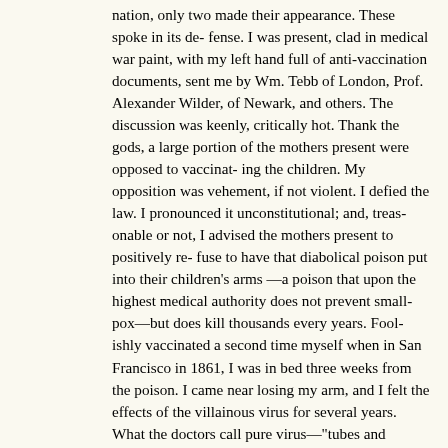nation, only two made their appearance. These spoke in its defense. I was present, clad in medical war paint, with my left hand full of anti-vaccination documents, sent me by Wm. Tebb of London, Prof. Alexander Wilder, of Newark, and others. The discussion was keenly, critically hot. Thank the gods, a large portion of the mothers present were opposed to vaccinating the children. My opposition was vehement, if not violent. I defied the law. I pronounced it unconstitutional; and, treasonable or not, I advised the mothers present to positively refuse to have that diabolical poison put into their children's arms—a poison that upon the highest medical authority does not prevent small-pox—but does kill thousands every years. Foolishly vaccinated a second time myself when in San Francisco in 1861, I was in bed three weeks from the poison. I came near losing my arm, and I felt the effects of the villainous virus for several years.
What the doctors call pure virus—"tubes and points"—I publicly pronounced filthy, vile, impure, calf-lymph "cussedness." During the discussion I advised that instead of vaccinating and poisoning the blood of our clean, sweet-faced children, that the doctors, druggists, lawyers, and preachers of San Diego—all be vaccinated and the dear, innocent children be spared. This was not a popular presentation to the vaccinationists present, and yet, two-thirds of the ladies cheered me roundly. Oh, that our mothers, wives, sisters, and daughters